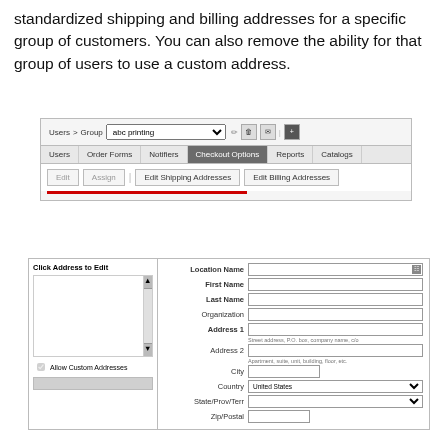standardized shipping and billing addresses for a specific group of customers. You can also remove the ability for that group of users to use a custom address.
[Figure (screenshot): Web interface showing Users > Group 'abc printing' with tabs: Users, Order Forms, Notifiers, Checkout Options (active), Reports, Catalogs. Below tabs are Edit, Assign buttons and Edit Shipping Addresses, Edit Billing Addresses buttons with a red underline bar beneath them.]
[Figure (screenshot): Address editing form with left panel 'Click Address to Edit' containing a list box with scrollbar and 'Allow Custom Addresses' checkbox. Right panel shows form fields: Location Name (with icon), First Name, Last Name, Organization, Address 1 (with hint 'Street address, P.O. box, company name, c/o'), Address 2 (with hint 'Apartment, suite, unit, building, floor, etc.'), City, Country (dropdown showing 'United States'), State/Prov/Terr (dropdown), Zip/Postal (text field).]